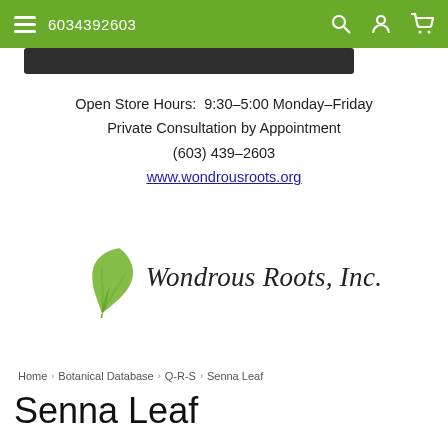6034392603
Open Store Hours:  9:30-5:00 Monday-Friday
Private Consultation by Appointment
(603) 439-2603
www.wondrousroots.org
[Figure (logo): Wondrous Roots, Inc. logo with a green ginkgo leaf and cursive text]
Home › Botanical Database › Q-R-S › Senna Leaf
Senna Leaf